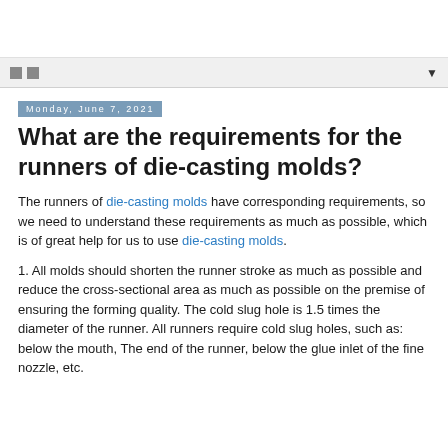Monday, June 7, 2021
What are the requirements for the runners of die-casting molds?
The runners of die-casting molds have corresponding requirements, so we need to understand these requirements as much as possible, which is of great help for us to use die-casting molds.
1. All molds should shorten the runner stroke as much as possible and reduce the cross-sectional area as much as possible on the premise of ensuring the forming quality. The cold slug hole is 1.5 times the diameter of the runner. All runners require cold slug holes, such as: below the mouth, The end of the runner, below the glue inlet of the fine nozzle, etc.